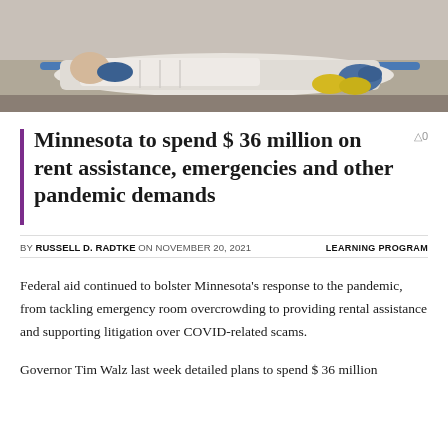[Figure (photo): Photo of a patient on a stretcher/gurney being transported, wearing white clothing and yellow socks, with a medical worker in blue gloves visible. Hospital or medical setting.]
Minnesota to spend $ 36 million on rent assistance, emergencies and other pandemic demands
BY RUSSELL D. RADTKE ON NOVEMBER 20, 2021    LEARNING PROGRAM
Federal aid continued to bolster Minnesota's response to the pandemic, from tackling emergency room overcrowding to providing rental assistance and supporting litigation over COVID-related scams.
Governor Tim Walz last week detailed plans to spend $ 36 million